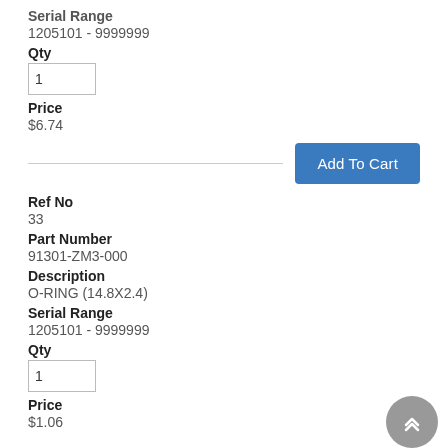Serial Range
1205101 - 9999999
Qty
1
Price
$6.74
Add To Cart
Ref No
33
Part Number
91301-ZM3-000
Description
O-RING (14.8X2.4)
Serial Range
1205101 - 9999999
Qty
1
Price
$1.06